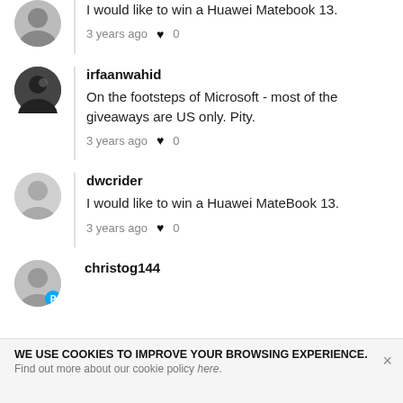I would like to win a Huawei Matebook 13.
3 years ago ♥ 0
irfaanwahid
On the footsteps of Microsoft - most of the giveaways are US only. Pity.
3 years ago ♥ 0
dwcrider
I would like to win a Huawei MateBook 13.
3 years ago ♥ 0
christog144
WE USE COOKIES TO IMPROVE YOUR BROWSING EXPERIENCE.
Find out more about our cookie policy here.